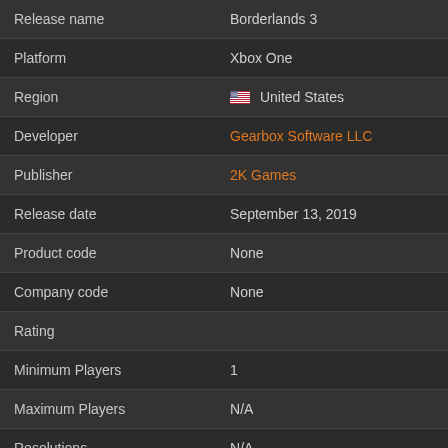| Field | Value |
| --- | --- |
| Release name | Borderlands 3 |
| Platform | Xbox One |
| Region | 🇺🇸 United States |
| Developer | Gearbox Software LLC |
| Publisher | 2K Games |
| Release date | September 13, 2019 |
| Product code | None |
| Company code | None |
| Rating |  |
| Minimum Players | 1 |
| Maximum Players | N/A |
| Resolutions | N/A |
| Sound Systems | N/A |